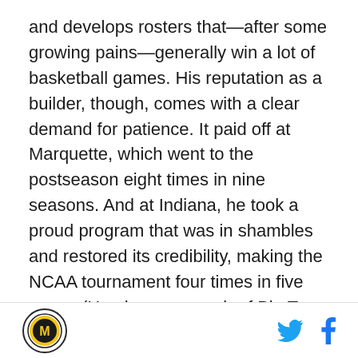and develops rosters that—after some growing pains—generally win a lot of basketball games. His reputation as a builder, though, comes with a clear demand for patience. It paid off at Marquette, which went to the postseason eight times in nine seasons. And at Indiana, he took a proud program that was in shambles and restored its credibility, making the NCAA tournament four times in five years. (He also won a pair of Big Ten titles.) Ultimately, his undoing in Bloomington was a harder reset than expected. While he wore out his welcome among the Hoosiers, it was easy to see why his model might be optimal for Georgia, whose experience with Fox showed that patience wasn't something the program lacked. Yet
[Logo M] [Twitter icon] [Facebook icon]